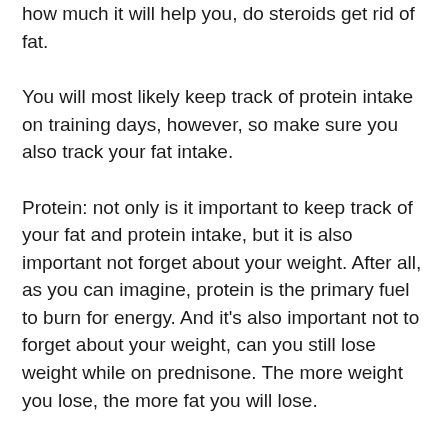how much it will help you, do steroids get rid of fat.
You will most likely keep track of protein intake on training days, however, so make sure you also track your fat intake.
Protein: not only is it important to keep track of your fat and protein intake, but it is also important not forget about your weight. After all, as you can imagine, protein is the primary fuel to burn for energy. And it's also important not to forget about your weight, can you still lose weight while on prednisone. The more weight you lose, the more fat you will lose.
In order to keep both your body weight and weight loss rate steady, we recommend you to use both a carb and fat/protein intake, can you lose weight